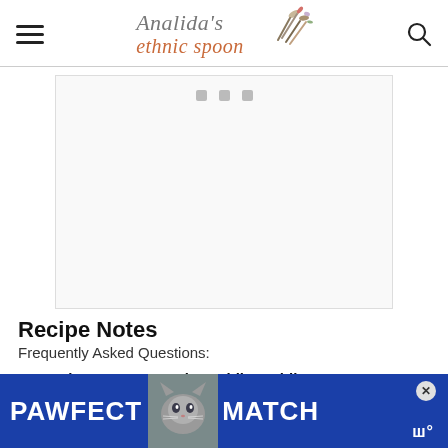Analida's ethnic spoon
[Figure (screenshot): Empty ad/image placeholder box with three small gray squares at the top center]
Recipe Notes
Frequently Asked Questions:
How long can I save the Dublin coddle?
Once it has completely cooled, you can store
[Figure (photo): PAWFECT MATCH advertisement banner with a cat photo, blue background, white bold text reading PAWFECT MATCH, and a close (X) button]